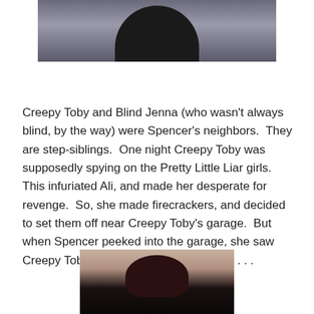[Figure (photo): Photo of a person with dark wavy hair wearing a dark jacket, upper portion visible]
Creepy Toby and Blind Jenna (who wasn't always blind, by the way) were Spencer's neighbors.  They are step-siblings.  One night Creepy Toby was supposedly spying on the Pretty Little Liar girls.  This infuriated Ali, and made her desperate for revenge.  So, she made firecrackers, and decided to set them off near Creepy Toby's garage.  But when Spencer peeked into the garage, she saw Creepy Toby and Blind Jenna DOING IT . . .
[Figure (photo): Photo of a person with dark short hair, head and top of shoulders visible]